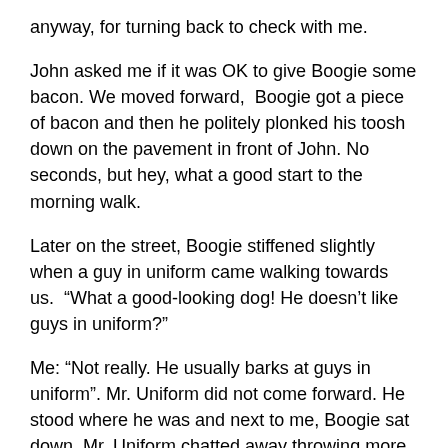anyway, for turning back to check with me.
John asked me if it was OK to give Boogie some bacon. We moved forward,  Boogie got a piece of bacon and then he politely plonked his toosh down on the pavement in front of John. No seconds, but hey, what a good start to the morning walk.
Later on the street, Boogie stiffened slightly when a guy in uniform came walking towards us.  “What a good-looking dog! He doesn’t like guys in uniform?”
Me: “Not really. He usually barks at guys in uniform”. Mr. Uniform did not come forward. He stood where he was and next to me, Boogie sat down. Mr. Uniform chatted away throwing more compliments at Boogie then said “OK, OK, I am leaving now. Go with your mom”.  I thanked him and said goodbye, and Boogie and I moved on, home